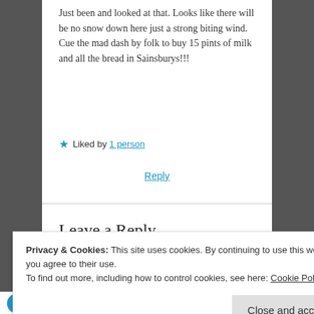Just been and looked at that. Looks like there will be no snow down here just a strong biting wind. Cue the mad dash by folk to buy 15 pints of milk and all the bread in Sainsburys!!!
★ Liked by 1 person
Reply
Leave a Reply
Your email address will not be published. Required fields are marked *
Privacy & Cookies: This site uses cookies. By continuing to use this website, you agree to their use.
To find out more, including how to control cookies, see here: Cookie Policy
Close and accept